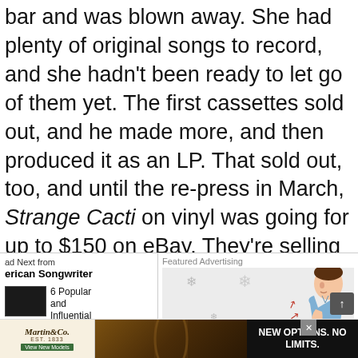bar and was blown away. She had plenty of original songs to record, and she hadn't been ready to let go of them yet. The first cassettes sold out, and he made more, and then produced it as an LP. That sold out, too, and until the re-press in March, Strange Cacti on vinyl was going for up to $150 on eBay. They're selling the new batch on tour along with Half Way Home.
Read Next from American Songwriter
6 Popular and Influential
Review: A Trove of R...
Featured Advertising
[Figure (illustration): Animated illustration of a person coughing, with snowflake/pollen particles around them, used in an advertisement]
[Figure (photo): Martin & Co guitar advertisement banner at bottom: Martin & Co logo, guitar photo, text NEW OPTIONS. NO LIMITS.]